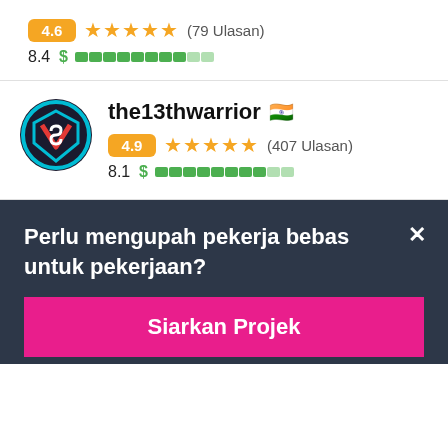4.6 ★★★★★ (79 Ulasan)
8.4 $ ▬▬▬▬▬▬▬▬▬▬
[Figure (logo): the13thwarrior user avatar logo - circular icon with stylized V and S letters in teal, dark blue and red colors]
the13thwarrior 🇮🇳
4.9 ★★★★★ (407 Ulasan)
8.1 $ ▬▬▬▬▬▬▬▬▬
Perlu mengupah pekerja bebas untuk pekerjaan?
Siarkan Projek